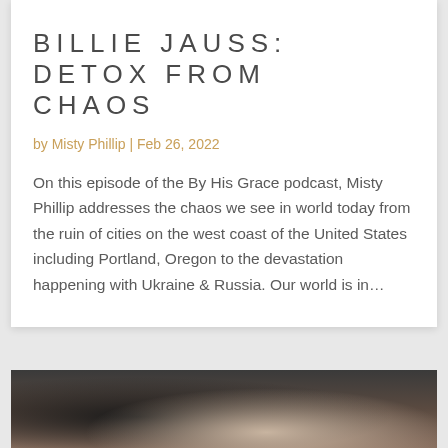BILLIE JAUSS: DETOX FROM CHAOS
by Misty Phillip | Feb 26, 2022
On this episode of the By His Grace podcast, Misty Phillip addresses the chaos we see in world today from the ruin of cities on the west coast of the United States including Portland, Oregon to the devastation happening with Ukraine & Russia. Our world is in...
[Figure (photo): Photo of a person in dark clothing holding an open book, with a brick wall visible in the background]